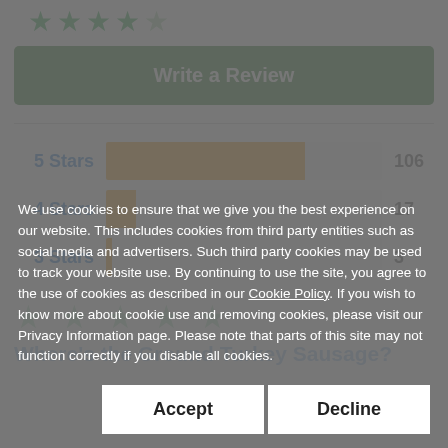[Figure (bar-chart): Star Ratings]
We use cookies to ensure that we give you the best experience on our website. This includes cookies from third party entities such as social media and advertisers. Such third party cookies may be used to track your website use. By continuing to use the site, you agree to the use of cookies as described in our Cookie Policy. If you wish to know more about cookie use and removing cookies, please visit our Privacy Information page. Please note that parts of this site may not function correctly if you disable all cookies.
Where's the Ground Turkey Sausage?